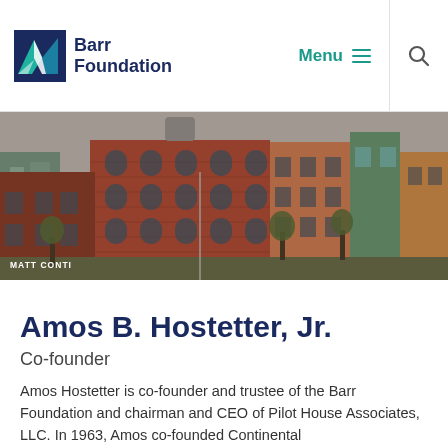Barr Foundation — Menu (navigation) — Search
[Figure (photo): Aerial/street-level photo of Boston urban neighborhood with brick buildings, including a large red-brick warehouse/mill building with arched windows. Photo credit: MATT CONTI]
Amos B. Hostetter, Jr.
Co-founder
Amos Hostetter is co-founder and trustee of the Barr Foundation and chairman and CEO of Pilot House Associates, LLC. In 1963, Amos co-founded Continental